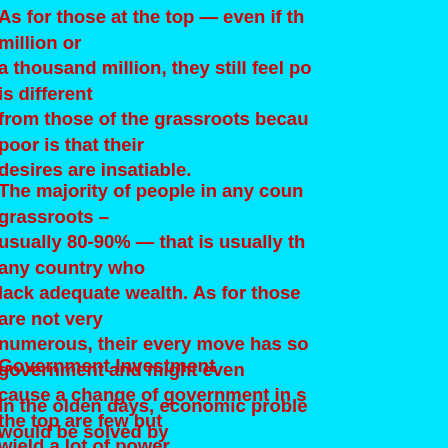As for those at the top — even if the million or a thousand million, they still feel po is different from those of the grassroots becau poor is that their desires are insatiable.
The majority of people in any count grassroots – usually 80-90% — that is usually th any country who lack adequate wealth. As for those are not very numerous, their every move has so government and might even cause a change of government in s the top are few but wield a lot of power.
Government Investment
In the olden days, economic proble would be solved by making concessions to those at th